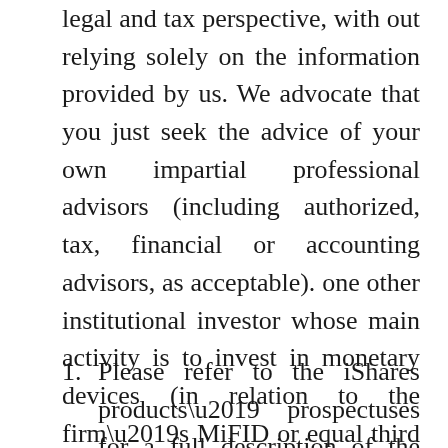legal and tax perspective, with out relying solely on the information provided by us. We advocate that you just seek the advice of your own impartial professional advisors (including authorized, tax, financial or accounting advisors, as acceptable). one other institutional investor whose main activity is to invest in monetary devices (in relation to the firm’s MiFID or equal third nation enterprise) or designated investments (in relation to the agency’s other enterprise).
Please refer to the iShares products’ prospectuses for a full description of the risks of investing in the products.